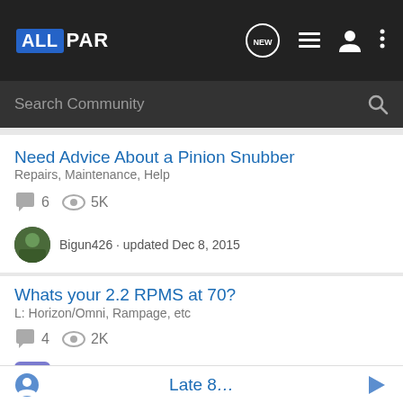ALLPAR
Search Community
Need Advice About a Pinion Snubber
Repairs, Maintenance, Help
6 comments · 5K views
Bigun426 · updated Dec 8, 2015
Whats your 2.2 RPMS at 70?
L: Horizon/Omni, Rampage, etc
4 comments · 2K views
PLY483 · updated Nov 8, 2012
Late 8…